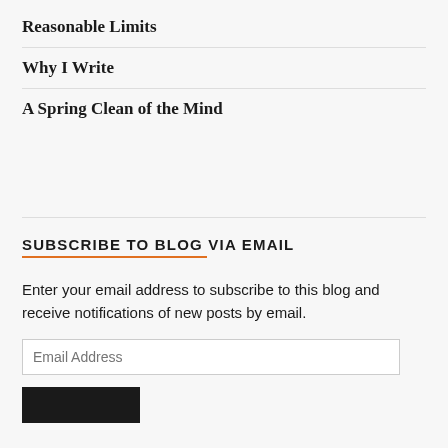Reasonable Limits
Why I Write
A Spring Clean of the Mind
SUBSCRIBE TO BLOG VIA EMAIL
Enter your email address to subscribe to this blog and receive notifications of new posts by email.
Email Address